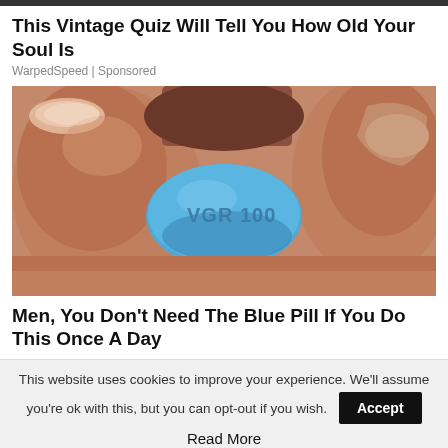This Vintage Quiz Will Tell You How Old Your Soul Is
WarpedSpeed | Sponsored
[Figure (photo): Close-up photo of fingers holding a blue diamond-shaped pill (Viagra/VGR 100) between fingertips]
Men, You Don't Need The Blue Pill If You Do This Once A Day
This website uses cookies to improve your experience. We'll assume you're ok with this, but you can opt-out if you wish.
Accept
Read More